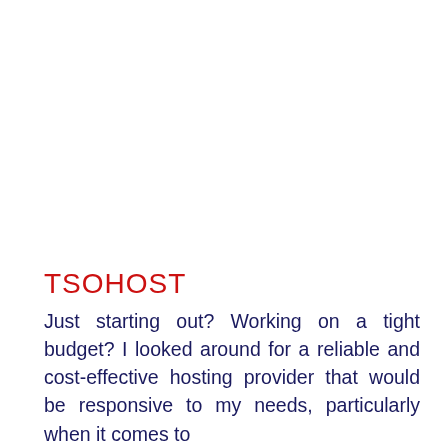TSOHOST
Just starting out? Working on a tight budget? I looked around for a reliable and cost-effective hosting provider that would be responsive to my needs, particularly when it comes to